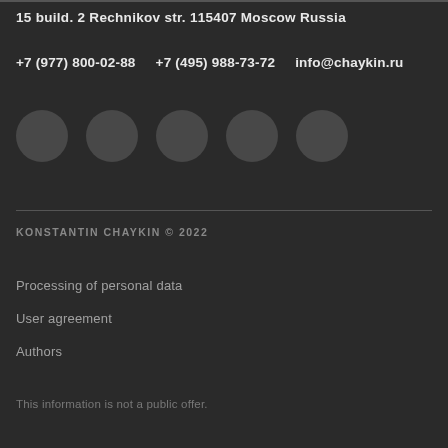15 build. 2 Rechnikov str. 115407 Moscow Russia
+7 (977) 800-02-88    +7 (495) 988-73-72  info@chaykin.ru
[Figure (illustration): Five dark gray circles representing social media icons]
KONSTANTIN CHAYKIN © 2022
Processing of personal data
User agreement
Authors
This information is not a public offer.